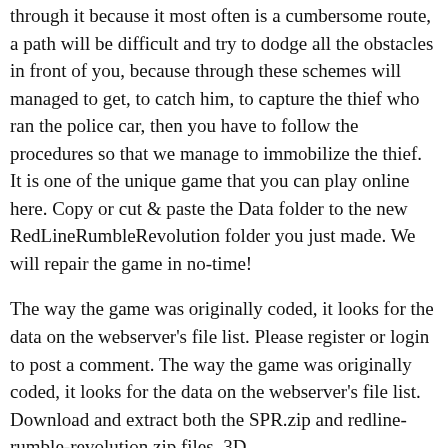through it because it most often is a cumbersome route, a path will be difficult and try to dodge all the obstacles in front of you, because through these schemes will managed to get, to catch him, to capture the thief who ran the police car, then you have to follow the procedures so that we manage to immobilize the thief. It is one of the unique game that you can play online here. Copy or cut & paste the Data folder to the new RedLineRumbleRevolution folder you just made. We will repair the game in no-time!
The way the game was originally coded, it looks for the data on the webserver's file list. Please register or login to post a comment. The way the game was originally coded, it looks for the data on the webserver's file list. Download and extract both the SPR.zip and redline-rumble-revolution.zip files. 3D. active_user.addCapturedSelector('#below_game_play_later_block', true); © 2014 - 2020 Play-Games.com. Redline Rumble 3 12,633